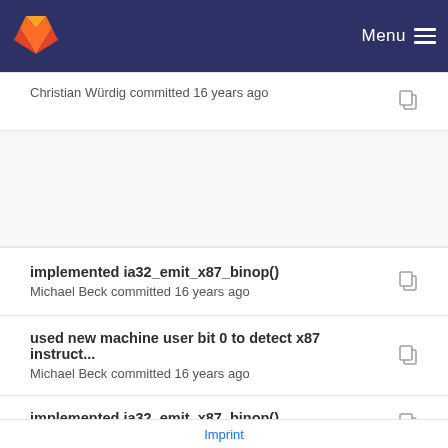GitLab — Menu
Christian Würdig committed 16 years ago
implemented ia32_emit_x87_binop()
Michael Beck committed 16 years ago
used new machine user bit 0 to detect x87 instruct...
Michael Beck committed 16 years ago
implemented ia32_emit_x87_binop()
Michael Beck committed 16 years ago
Imprint